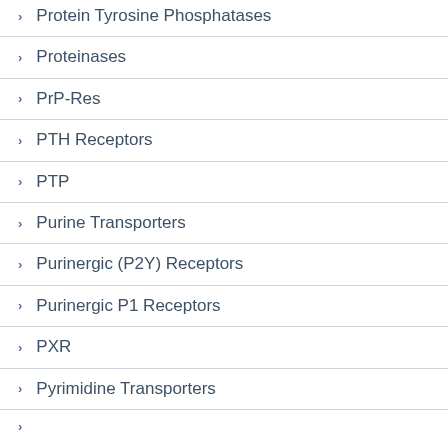Protein Tyrosine Phosphatases
Proteinases
PrP-Res
PTH Receptors
PTP
Purine Transporters
Purinergic (P2Y) Receptors
Purinergic P1 Receptors
PXR
Pyrimidine Transporters
Tyrosine Kinase...